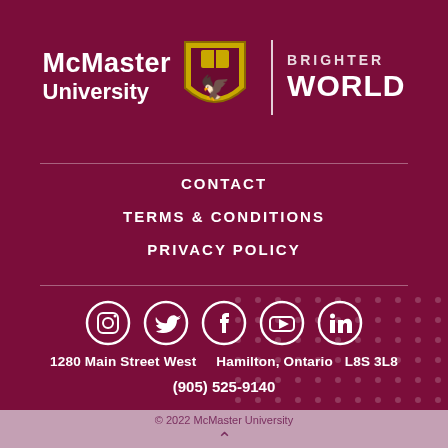[Figure (logo): McMaster University logo with shield crest and 'Brighter World' text on dark maroon background]
CONTACT
TERMS & CONDITIONS
PRIVACY POLICY
[Figure (infographic): Social media icons in white circles: Instagram, Twitter, Facebook, YouTube, LinkedIn]
1280 Main Street West    Hamilton, Ontario  L8S 3L8
(905) 525-9140
© 2022 McMaster University